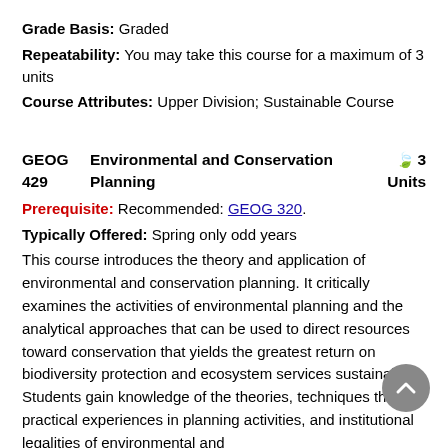Grade Basis: Graded
Repeatability: You may take this course for a maximum of 3 units
Course Attributes: Upper Division; Sustainable Course
GEOG 429   Environmental and Conservation Planning   🌿3 Units
Prerequisite: Recommended: GEOG 320.
Typically Offered: Spring only odd years
This course introduces the theory and application of environmental and conservation planning. It critically examines the activities of environmental planning and the analytical approaches that can be used to direct resources toward conservation that yields the greatest return on biodiversity protection and ecosystem services sustainability. Students gain knowledge of the theories, techniques through practical experiences in planning activities, and institutional legalities of environmental and